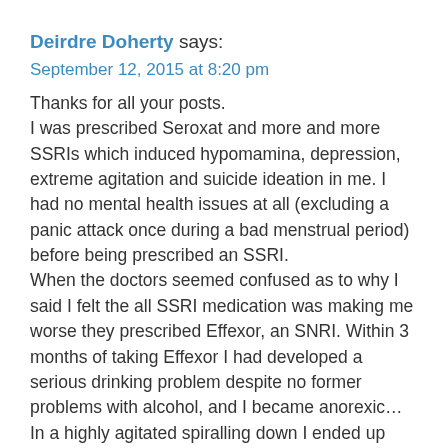Deirdre Doherty says:
September 12, 2015 at 8:20 pm
Thanks for all your posts.
I was prescribed Seroxat and more and more SSRIs which induced hypomamina, depression, extreme agitation and suicide ideation in me. I had no mental health issues at all (excluding a panic attack once during a bad menstrual period) before being prescribed an SSRI.
When the doctors seemed confused as to why I said I felt the all SSRI medication was making me worse they prescribed Effexor, an SNRI. Within 3 months of taking Effexor I had developed a serious drinking problem despite no former problems with alcohol, and I became anorexic… In a highly agitated spiralling down I ended up making a impulsive no cry for help